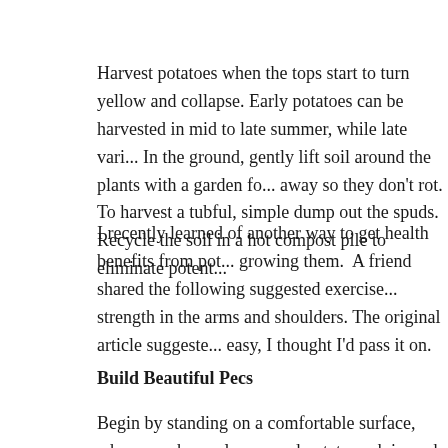Harvest potatoes when the tops start to turn yellow and collapse. Early potatoes can be harvested in mid to late summer, while late vari... In the ground, gently lift soil around the plants with a garden fo... away so they don't rot. To harvest a tubful, simple dump out the spuds. Recycle the soil in a hot compost pile to eliminate potent...
I recently learned of another way to get health benefits from pot... growing them.  A friend shared the following suggested exercise... strength in the arms and shoulders. The original article suggeste... easy, I thought I'd pass it on.
Build Beautiful Pecs
Begin by standing on a comfortable surface, where you have ple... pound potato sack in each hand, extend your arms straight out f... as long as you can. Try to reach a full minute, then relax. Each o... this position for just a bit longer.